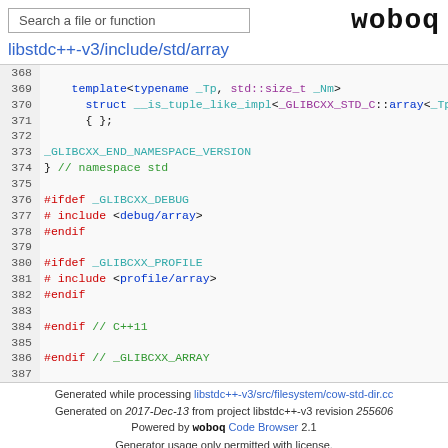Search a file or function | woboq
libstdc++-v3/include/std/array
[Figure (screenshot): Source code viewer showing lines 368-387 of libstdc++-v3/include/std/array with syntax highlighting]
Generated while processing libstdc++-v3/src/filesystem/cow-std-dir.cc Generated on 2017-Dec-13 from project libstdc++-v3 revision 255606 Powered by woboq Code Browser 2.1 Generator usage only permitted with license.
Imprint - Privacy Policy - Google Analytics Tracking Opt-Out - Contact - About